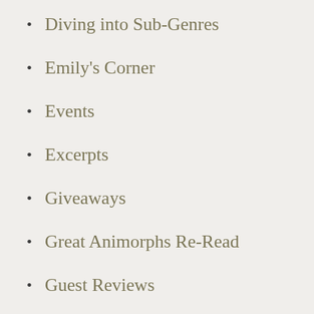Diving into Sub-Genres
Emily's Corner
Events
Excerpts
Giveaways
Great Animorphs Re-Read
Guest Reviews
Highlights
Joint Reviews
Kate's Reviews
Libraries
Monthly Marillier
Movie Reviews
My Year with Jane Austen
Not Just Books
Other
Predictive Advice